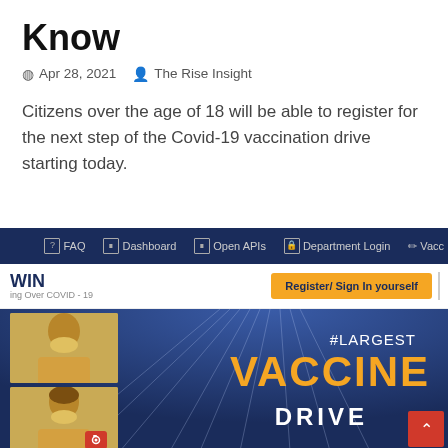Know
Apr 28, 2021  The Rise Insight
Citizens over the age of 18 will be able to register for the next step of the Covid-19 vaccination drive starting today.
[Figure (screenshot): Screenshot of CoWIN vaccination portal website showing navigation bar with FAQ, Dashboard, Open APIs, Department Login links, WIN ing Over COVID-19 logo, Register/Sign In yourself button, and a banner image showing #LARGEST VACCINE DRIVE with two masked individuals on a blue background.]